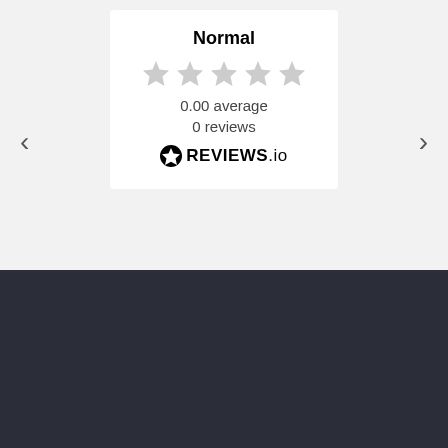Normal
[Figure (other): Five grey star rating icons]
0.00 average
0 reviews
[Figure (logo): REVIEWS.io logo with star icon]
ADVICE, ANSWERS AND TIPS
re our support articles for answers to your questions
Search for answers ...